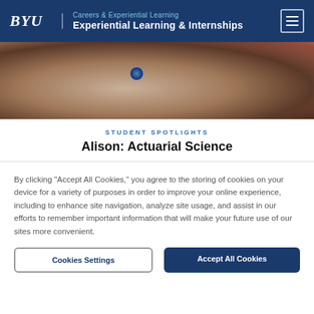BYU | Careers & Experiential Learning — Experiential Learning & Internships
[Figure (photo): Close-up photo of a person's wrist/hand near a laptop or device, with a circular blue watch or device visible]
STUDENT SPOTLIGHTS
Alison: Actuarial Science
By clicking "Accept All Cookies," you agree to the storing of cookies on your device for a variety of purposes in order to improve your online experience, including to enhance site navigation, analyze site usage, and assist in our efforts to remember important information that will make your future use of our sites more convenient.
Cookies Settings | Accept All Cookies